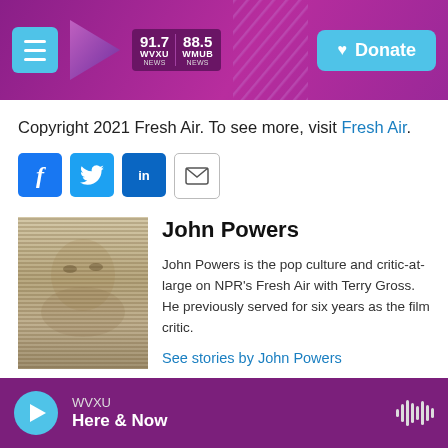WVXU 91.7 NEWS | WMUB 88.5 NEWS | Donate
Copyright 2021 Fresh Air. To see more, visit Fresh Air.
[Figure (other): Social sharing icons: Facebook, Twitter, LinkedIn, Email]
[Figure (photo): Black and white halftone photo of John Powers]
John Powers
John Powers is the pop culture and critic-at-large on NPR's Fresh Air with Terry Gross. He previously served for six years as the film critic.
See stories by John Powers
WVXU Here & Now